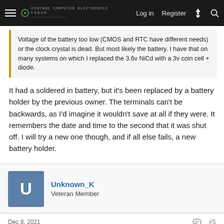Log in  Register
Voltage of the battery too low (CMOS and RTC have different needs) or the clock crystal is dead. But most likely the battery. I have that on many systems on which I replaced the 3.6v NiCd with a 3v coin cell + diode.
It had a soldered in battery, but it's been replaced by a battery holder by the previous owner. The terminals can't be backwards, as I'd imagine it wouldn't save at all if they were. It remembers the date and time to the second that it was shut off. I will try a new one though, and if all else fails, a new battery holder.
Unknown_K
Veteran Member
Dec 8, 2021  #5